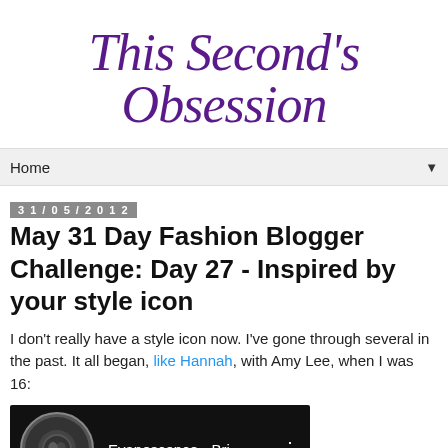This Second's Obsession
Home
31/05/2012
May 31 Day Fashion Blogger Challenge: Day 27 - Inspired by your style icon
I don't really have a style icon now. I've gone through several in the past. It all began, like Hannah, with Amy Lee, when I was 16:
[Figure (screenshot): YouTube video embed showing Evanescence - Bri... with a circular thumbnail on dark background]